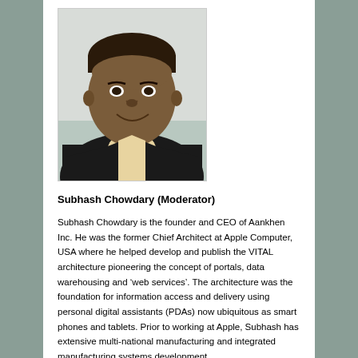[Figure (photo): Headshot photo of Subhash Chowdary, a middle-aged South Asian man smiling, wearing a dark jacket over a light-colored shirt, photographed against a light background.]
Subhash Chowdary (Moderator)
Subhash Chowdary is the founder and CEO of Aankhen Inc. He was the former Chief Architect at Apple Computer, USA where he helped develop and publish the VITAL architecture pioneering the concept of portals, data warehousing and ‘web services’. The architecture was the foundation for information access and delivery using personal digital assistants (PDAs) now ubiquitous as smart phones and tablets. Prior to working at Apple, Subhash has extensive multi-national manufacturing and integrated manufacturing systems development